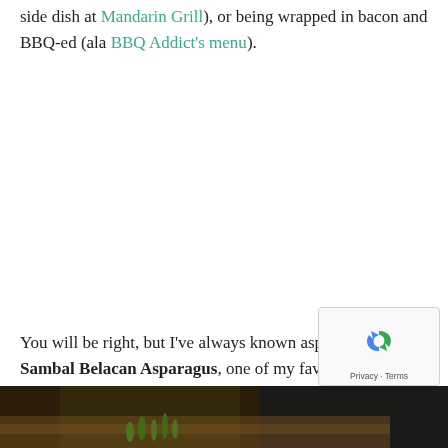side dish at Mandarin Grill), or being wrapped in bacon and BBQ-ed (ala BBQ Addict's menu).
You will be right, but I've always known asparagus from Sambal Belacan Asparagus, one of my favorite dishes from childhood, a Hokkien/Penang Nyonya specialty of so
[Figure (photo): Bottom portion of a food photo showing a dark background with what appears to be asparagus on a wooden surface]